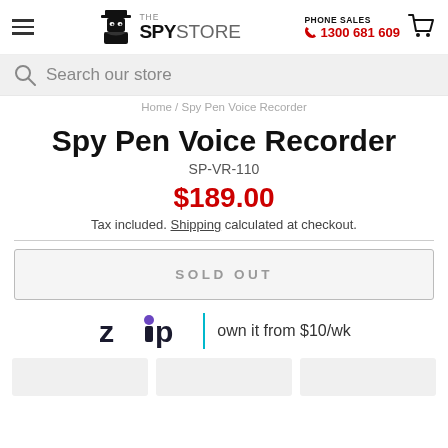THE SPY STORE | PHONE SALES 1300 681 609
Search our store
Home / Spy Pen Voice Recorder
Spy Pen Voice Recorder
SP-VR-110
$189.00
Tax included. Shipping calculated at checkout.
SOLD OUT
[Figure (logo): Zip logo with 'own it from $10/wk' text]